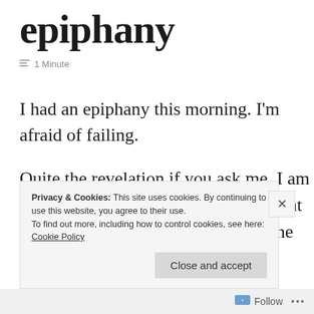epiphany
≡ 1 Minute
I had an epiphany this morning. I'm afraid of failing.
Quite the revelation if you ask me. I am afraid to do things because the thought of failure horrifies me. It's only in the most desperate
Privacy & Cookies: This site uses cookies. By continuing to use this website, you agree to their use.
To find out more, including how to control cookies, see here:
Cookie Policy
Close and accept
Follow ...